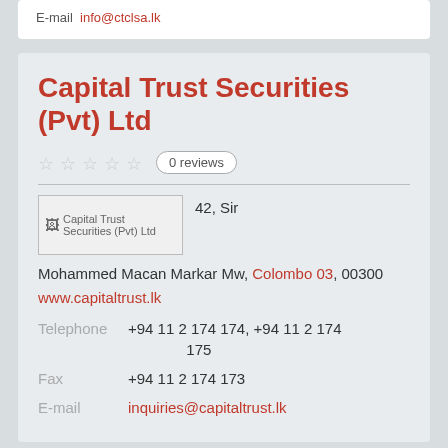E-mail   info@ctclsa.lk
Capital Trust Securities (Pvt) Ltd
0 reviews
[Figure (photo): Capital Trust Securities (Pvt) Ltd company logo/image placeholder]
42, Sir Mohammed Macan Markar Mw, Colombo 03, 00300
www.capitaltrust.lk
Telephone  +94 11 2 174 174, +94 11 2 174 175
Fax  +94 11 2 174 173
E-mail  inquiries@capitaltrust.lk